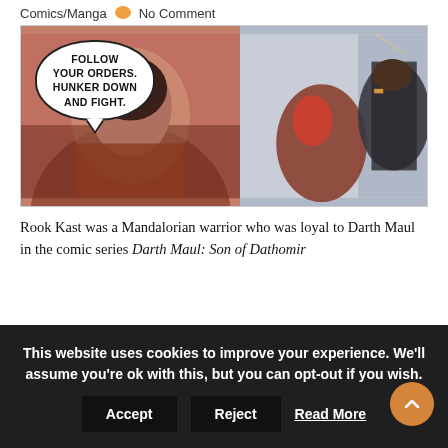Comics/Manga   No Comment
[Figure (illustration): Two comic panels side by side. Left panel: a woman in dark armor with short dark hair saying 'FOLLOW YOUR ORDERS. HUNKER DOWN AND FIGHT.' in a speech bubble, set against a reddish-brown background. Right panel: two figures, Darth Maul (red demon-like character) and a Mandalorian warrior in dark armor with orange/yellow accents, on a grey/white background with sparks.]
Rook Kast was a Mandalorian warrior who was loyal to Darth Maul in the comic series Darth Maul: Son of Dathomir
This website uses cookies to improve your experience. We'll assume you're ok with this, but you can opt-out if you wish.